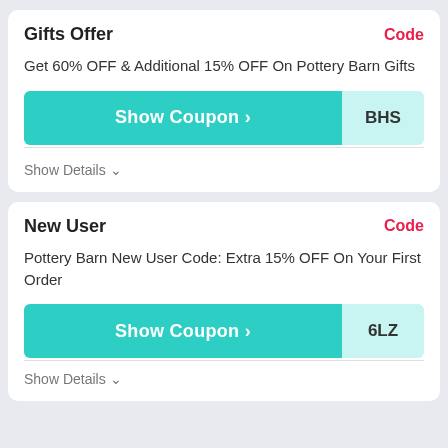Gifts Offer
Code
Get 60% OFF & Additional 15% OFF On Pottery Barn Gifts
Show Coupon > BHS
Show Details ∨
New User
Code
Pottery Barn New User Code: Extra 15% OFF On Your First Order
Show Coupon > 6LZ
Show Details ∨